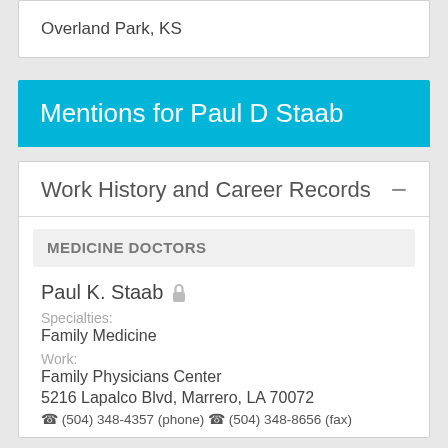Overland Park, KS
Mentions for Paul D Staab
Work History and Career Records
MEDICINE DOCTORS
Paul K. Staab
Specialties: Family Medicine
Work: Family Physicians Center
5216 Lapalco Blvd, Marrero, LA 70072
(504) 348-4357 (phone) • (504) 348-8656 (fax)